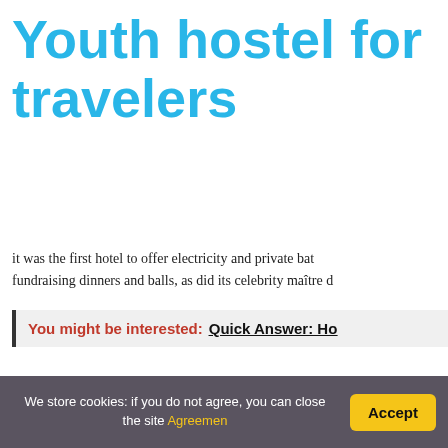Youth hostel for travelers
it was the first hotel to offer electricity and private baths, fundraising dinners and balls, as did its celebrity maître d
You might be interested: Quick Answer: Ho
Do people live in the Waldorf Astoria?
Other than the cache of being able to say that you live perks, including the building's 50,000-square-foot amen million mark, condos at the Waldorf Astoria start at $1.7
What hotel does China own in New York?
We store cookies: if you do not agree, you can close the site Agreemen